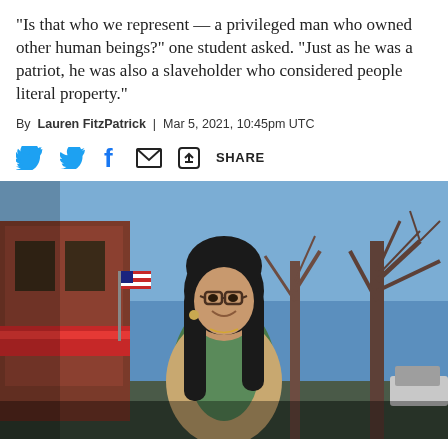“Is that who we represent — a privileged man who owned other human beings?” one student asked. “Just as he was a patriot, he was also a slaveholder who considered people literal property.”
By Lauren FitzPatrick | Mar 5, 2021, 10:45pm UTC
[Figure (other): Social sharing icons: Twitter bird, Facebook f, email envelope, share arrow, and SHARE text]
[Figure (photo): A young woman with long dark hair and glasses, wearing a green top and tan cardigan with gold earrings, smiling outdoors on a street with bare trees and an American flag visible in the background, bright blue sky]